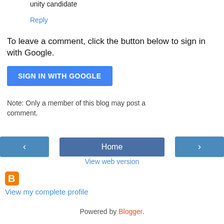unity candidate
Reply
To leave a comment, click the button below to sign in with Google.
[Figure (other): Blue button labeled SIGN IN WITH GOOGLE]
Note: Only a member of this blog may post a comment.
[Figure (other): Navigation bar with left arrow button, Home button, and right arrow button]
View web version
[Figure (logo): Blogger orange square logo icon]
View my complete profile
Powered by Blogger.